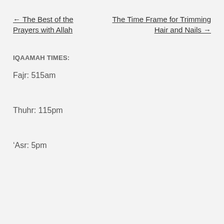← The Best of the Prayers with Allah
The Time Frame for Trimming Hair and Nails →
IQAAMAH TIMES:
Fajr: 515am
Thuhr: 115pm
'Asr: 5pm